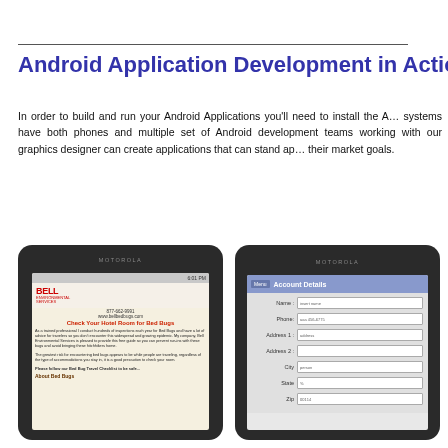Android Application Development in Action a
In order to build and run your Android Applications you'll need to install the A... systems have both phones and multiple set of Android development teams working with our graphics designer can create applications that can stand ap... their market goals.
[Figure (photo): Photo of a Motorola Android phone displaying a Bell Bed Bug inspection app website with dog mascot logo, phone number 877-662-9991, www.bellbedbugs.com, headline 'Check Your Hotel Room for Bed Bugs', and article text about bed bug awareness.]
[Figure (screenshot): Photo of a Motorola Android phone displaying an Account Details form with fields: Name (insert name), Phone (aaa 456-6775), Address 1 (address), Address 2 (empty), City (person), State (%), Zip (00114).]